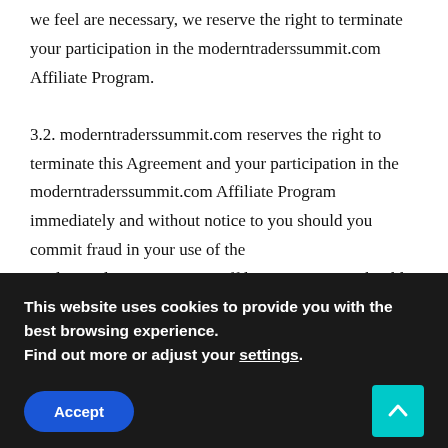we feel are necessary, we reserve the right to terminate your participation in the moderntraderssummit.com Affiliate Program.
3.2. moderntraderssummit.com reserves the right to terminate this Agreement and your participation in the moderntraderssummit.com Affiliate Program immediately and without notice to you should you commit fraud in your use of the moderntraderssummit.com Affiliate Program or should you abuse this program in any way. If such fraud or abuse is detected, moderntraderssummit.com shall not be liable to you for any commissions for such fraudulent
This website uses cookies to provide you with the best browsing experience. Find out more or adjust your settings.